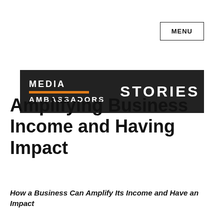MENU
[Figure (logo): Media Ambassadors Stories banner — dark background with orange underline bar, white text reading MEDIA AMBASSADORS on left and STORIES on right]
Amplifying Business Income and Having Impact
How a Business Can Amplify Its Income and Have an Impact